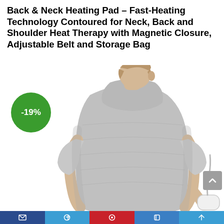Back & Neck Heating Pad – Fast-Heating Technology Contoured for Neck, Back and Shoulder Heat Therapy with Magnetic Closure, Adjustable Belt and Storage Bag
[Figure (photo): A person viewed from behind wearing a grey contoured heating pad that wraps around the neck, back and shoulders. They are holding a white remote/controller in their right hand. A green circular badge shows -19% discount. A grey scroll-to-top button appears at the right middle edge.]
Social sharing toolbar with icons: share, tweet, pinterest, email/other buttons